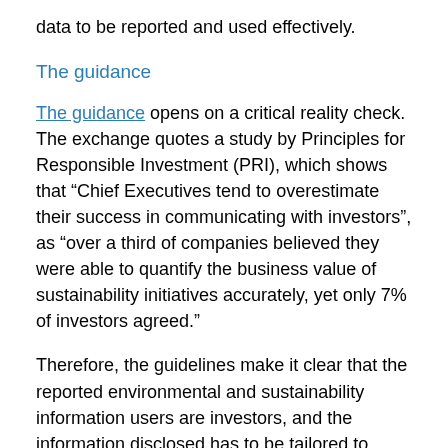data to be reported and used effectively.
The guidance
The guidance opens on a critical reality check. The exchange quotes a study by Principles for Responsible Investment (PRI), which shows that “Chief Executives tend to overestimate their success in communicating with investors”, as “over a third of companies believed they were able to quantify the business value of sustainability initiatives accurately, yet only 7% of investors agreed.”
Therefore, the guidelines make it clear that the reported environmental and sustainability information users are investors, and the information disclosed has to be tailored to investors’ needs, enabling them to make informed capital allocation decisions.
Having this clear audience gives greater value to the direction the guidelines provide. In our experience, organisations and